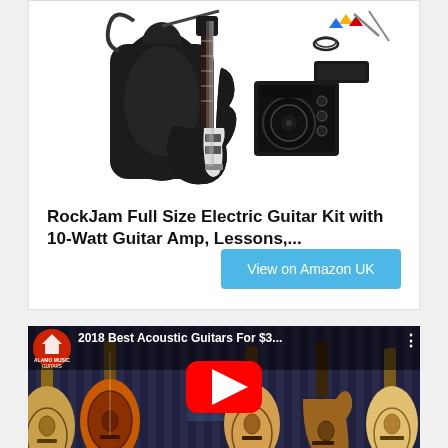[Figure (photo): RockJam Full Size Electric Guitar Kit product photo showing a black electric guitar with white pickguard, a black gig bag, a small 10-watt amplifier, and accessories including picks, cable, and hex keys against a white background]
RockJam Full Size Electric Guitar Kit with 10-Watt Guitar Amp, Lessons,...
[Figure (screenshot): YouTube video thumbnail for '2018 Best Acoustic Guitars For $3...' from Alamo Music Guitars channel, showing five acoustic guitars of different colors arranged side by side with a red YouTube play button overlay]